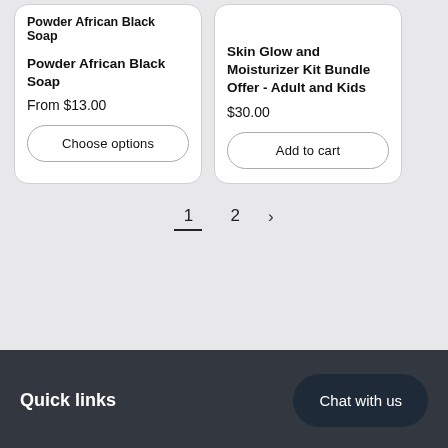Powder African Black Soap
Powder African Black Soap
From $13.00
Choose options
Skin Glow and Moisturizer Kit Bundle Offer - Adult and Kids
$30.00
Add to cart
1
2
>
Quick links
Chat with us